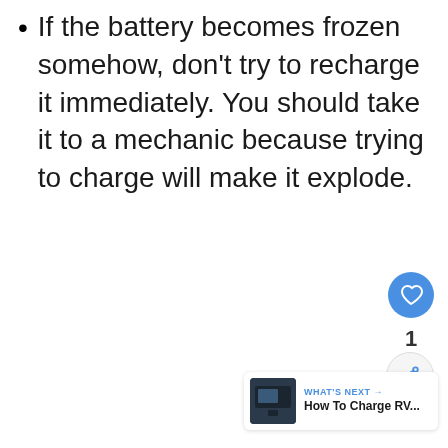If the battery becomes frozen somehow, don't try to recharge it immediately. You should take it to a mechanic because trying to charge will make it explode.